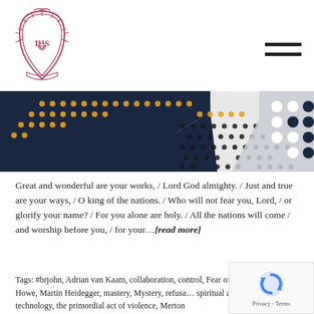[Figure (logo): Jesuit school crest/shield logo in red/pink with IHS symbol, bird on top]
[Figure (illustration): Decorative banner with dark navy shape on left, gold/yellow dots pattern, black dots in center, grey shape with white and navy dots on right]
Great and wonderful are your works, / Lord God almighty. / Just and true are your ways, / O king of the nations. / Who will not fear you, Lord, / or glorify your name? / For you alone are holy. / All the nations will come / and worship before you, / for your…[read more]
Tags: #brjohn, Adrian van Kaam, collaboration, control, Fear of the Lord, Marie Howe, Martin Heidegger, mastery, Mystery, refusal, spiritual awareness, technology, the primordial act of violence, Merton